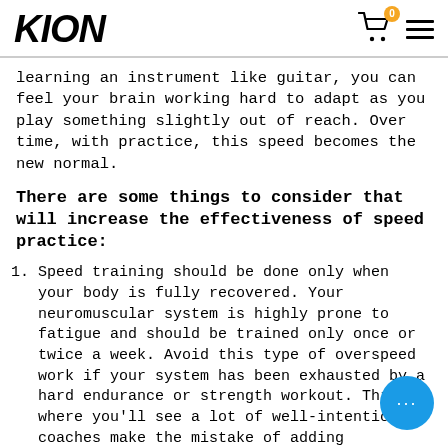KION
learning an instrument like guitar, you can feel your brain working hard to adapt as you play something slightly out of reach. Over time, with practice, this speed becomes the new normal.
There are some things to consider that will increase the effectiveness of speed practice:
Speed training should be done only when your body is fully recovered. Your neuromuscular system is highly prone to fatigue and should be trained only once or twice a week. Avoid this type of overspeed work if your system has been exhausted by a hard endurance or strength workout. This is where you'll see a lot of well-intentioned coaches make the mistake of adding